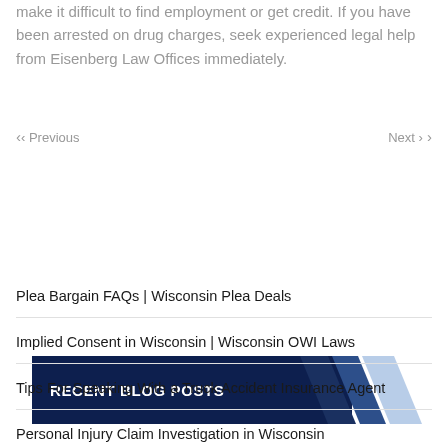make it difficult to find employment or get credit. If you have been arrested on drug charges, seek experienced legal help from Eisenberg Law Offices immediately.
< Previous    Next >
RECENT BLOG POSTS
Plea Bargain FAQs | Wisconsin Plea Deals
Implied Consent in Wisconsin | Wisconsin OWI Laws
Tips For Speaking With a Truck Accident Insurance Agent
Personal Injury Claim Investigation in Wisconsin